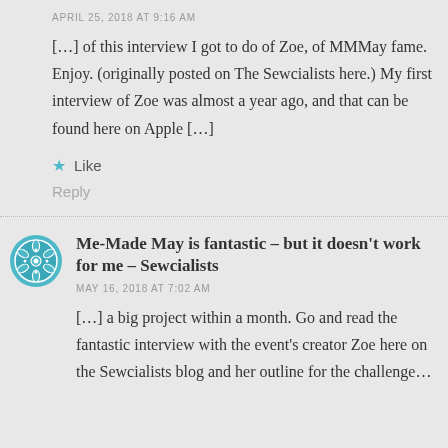APRIL 25, 2018 AT 9:16 AM
[…] of this interview I got to do of Zoe, of MMMay fame. Enjoy. (originally posted on The Sewcialists here.) My first interview of Zoe was almost a year ago, and that can be found here on Apple […]
Like
Reply
Me-Made May is fantastic – but it doesn't work for me – Sewcialists
MAY 16, 2018 AT 7:02 AM
[…] a big project within a month. Go and read the fantastic interview with the event's creator Zoe here on the Sewcialists blog and her outline for the challenge…